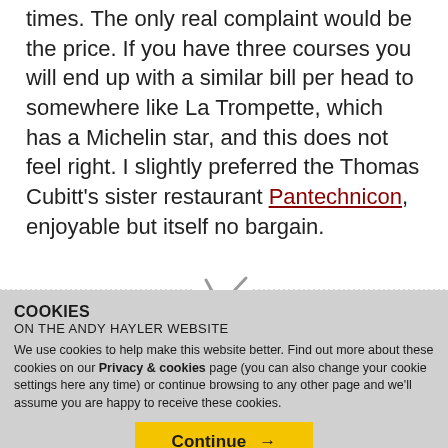times. The only real complaint would be the price. If you have three courses you will end up with a similar bill per head to somewhere like La Trompette, which has a Michelin star, and this does not feel right. I slightly preferred the Thomas Cubitt's sister restaurant Pantechnicon, enjoyable but itself no bargain.
[Figure (illustration): Dotted horizontal divider line with a decorative fork/checkmark icon in the center]
COOKIES ON THE ANDY HAYLER WEBSITE
We use cookies to help make this website better. Find out more about these cookies on our Privacy & cookies page (you can also change your cookie settings here any time) or continue browsing to any other page and we'll assume you are happy to receive these cookies.
Continue →